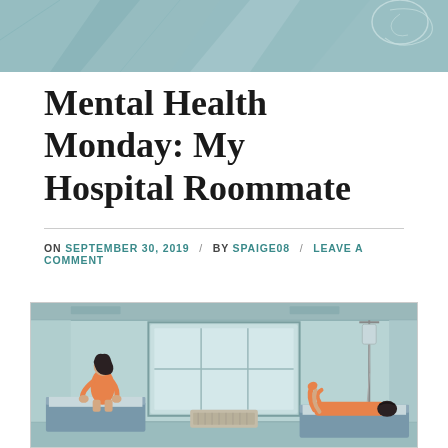[Figure (illustration): Teal/mint colored decorative header banner with abstract geometric shapes and a spiral/head outline illustration in the top right corner]
Mental Health Monday: My Hospital Roommate
ON SEPTEMBER 30, 2019  /  BY SPAIGE08  /  LEAVE A COMMENT
[Figure (illustration): Illustration of a hospital room with two beds. On the left, a person with dark hair wearing orange sits hunched on the edge of a bed, looking toward a window with grid panes. On the right, another person in orange lies face down on a bed with an IV stand nearby. The room has a teal/mint color scheme with a radiator heater between the beds under the window.]